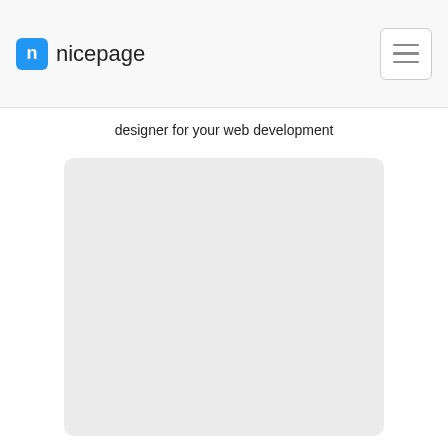nicepage
designer for your web development
[Figure (other): A light gray rounded rectangle card placeholder area]